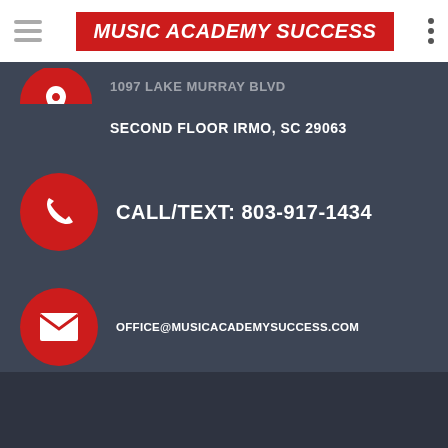Music Academy Success
SECOND FLOOR IRMO, SC 29063
CALL/TEXT: 803-917-1434
OFFICE@MUSICACADEMYSUCCESS.COM